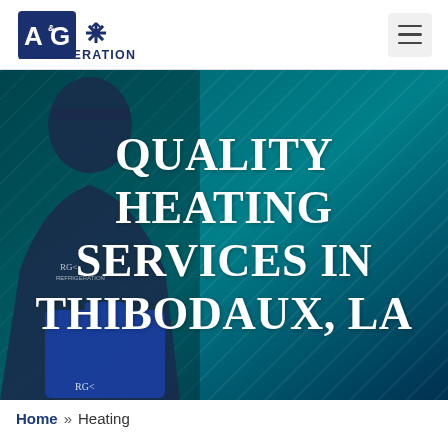[Figure (logo): A&G Refrigeration company logo with blue lettering and snowflake-style icon]
[Figure (photo): Hero banner showing a technician in a navy uniform with A&G Refrigeration branding holding a blue clipboard, overlaid on a teal/dark teal gradient background with a text overlay reading QUALITY HEATING SERVICES IN THIBODAUX, LA]
QUALITY HEATING SERVICES IN THIBODAUX, LA
Home » Heating